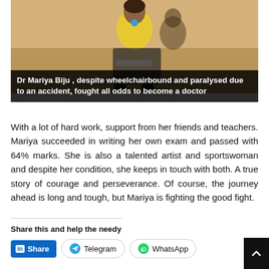[Figure (photo): Dr Mariya Biju in a yellow outfit seated in a wheelchair, photo taken indoors]
Dr Mariya Biju , despite wheelchairbound and paralysed due to an accident, fought all odds to become a doctor
With a lot of hard work, support from her friends and teachers. Mariya succeeded in writing her own exam and passed with 64% marks. She is also a talented artist and sportswoman and despite her condition, she keeps in touch with both. A true story of courage and perseverance. Of course, the journey ahead is long and tough, but Mariya is fighting the good fight.
Share this and help the needy